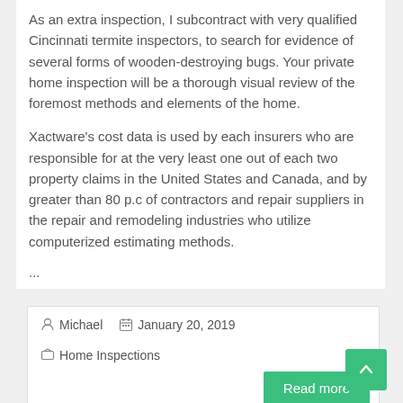As an extra inspection, I subcontract with very qualified Cincinnati termite inspectors, to search for evidence of several forms of wooden-destroying bugs. Your private home inspection will be a thorough visual review of the foremost methods and elements of the home.
Xactware’s cost data is used by each insurers who are responsible for at the very least one out of each two property claims in the United States and Canada, and by greater than 80 p.c of contractors and repair suppliers in the repair and remodeling industries who utilize computerized estimating methods.
...
Michael   January 20, 2019   Home Inspections
Read more